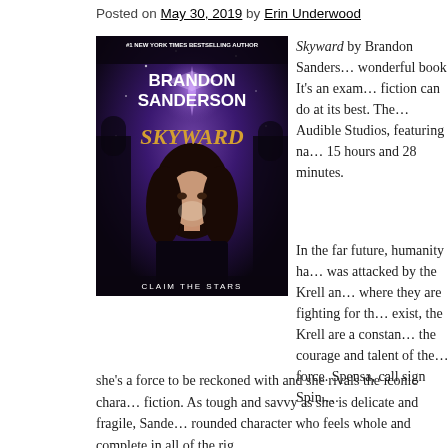Posted on May 30, 2019 by Erin Underwood
[Figure (photo): Book cover of Skyward by Brandon Sanderson. Shows a young woman with long dark hair against a purple cosmic background. Text reads: #1 New York Times Bestselling Author, Brandon Sanderson, Skyward, Claim the Stars.]
Skyward by Brandon Sanders... wonderful book! It's an exam... fiction can do at its best. The... Audible Studios, featuring na... 15 hours and 28 minutes.
In the far future, humanity ha... was attacked by the Krell an... where they are fighting for th... exist, the Krell are a constan... the courage and talent of the... force. Spensa, call sign Spin,... she's a force to be reckoned with and she rivals the iconic chara... fiction. As tough and savvy as she is delicate and fragile, Sande... rounded character who feels whole and complete in all of the rig...